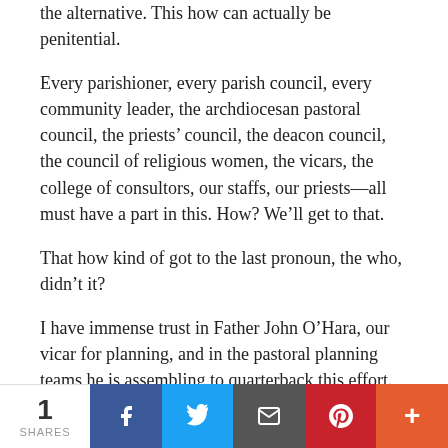the alternative. This how can actually be penitential.
Every parishioner, every parish council, every community leader, the archdiocesan pastoral council, the priests' council, the deacon council, the council of religious women, the vicars, the college of consultors, our staffs, our priests—all must have a part in this. How? We'll get to that.
That how kind of got to the last pronoun, the who, didn't it?
I have immense trust in Father John O'Hara, our vicar for planning, and in the pastoral planning teams he is assembling to quarterback this effort.
And I'm not embarrassed to admit we need professional help! That's why we've contracted a couple of pros, Dr. John Reid and Dr. Maureen
1 SHARES | Facebook | Twitter | Email | Pinterest | More